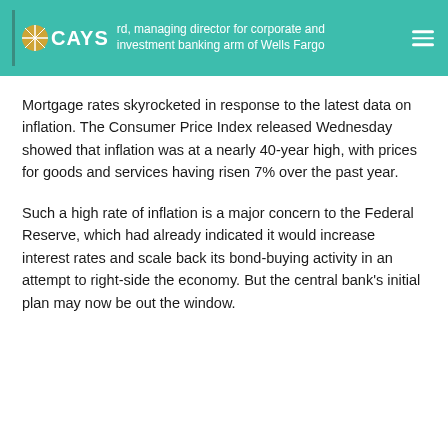CAYS | ...rd, managing director for corporate and investment banking arm of Wells Fargo
Mortgage rates skyrocketed in response to the latest data on inflation. The Consumer Price Index released Wednesday showed that inflation was at a nearly 40-year high, with prices for goods and services having risen 7% over the past year.
Such a high rate of inflation is a major concern to the Federal Reserve, which had already indicated it would increase interest rates and scale back its bond-buying activity in an attempt to right-side the economy. But the central bank's initial plan may now be out the window.